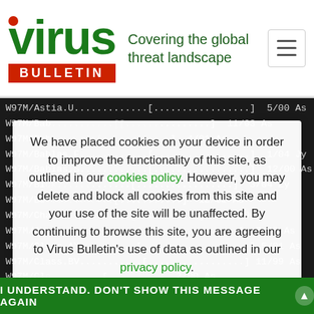[Figure (logo): Virus Bulletin logo with red dot over 'v', green text 'virus', red banner 'BULLETIN', and tagline 'Covering the global threat landscape']
W97M/Astia.U.............[.................]  5/00 As
W97M/Bab...[..........]  11/03 As
W97M/Bab...[.......]  4/01 As
W97M/Bablas.F............[.................]  1/04 Jy
W97M/Bablas.S............[.................]  12/00 As
W97M/Blck...........[.................]  3/04 Zy
W97M/Bo...[...........]  12/02 As
W97M/Cha...[...........]  3/00 Jw
W97M/Check.S...........[.................]  7/02 As
W97M/Class.AY  [....................]  5/01 As
W97M/Class.BV...........[.................]  11/99 As
W97M/Cl...[.........]  2/00 As
W97M/Cl...[.........]  3/00 As
W97M/Coke.C2331.A........[.................]  12/00 As
W97M/ColdApe.B...........[.................]  3/99 As
W97M/Ded...  [...
W97M/Ded...
W97M/Ded.C............... [....................]  7/02 As
We have placed cookies on your device in order to improve the functionality of this site, as outlined in our cookies policy. However, you may delete and block all cookies from this site and your use of the site will be unaffected. By continuing to browse this site, you are agreeing to Virus Bulletin's use of data as outlined in our privacy policy.
I UNDERSTAND. DON'T SHOW THIS MESSAGE AGAIN